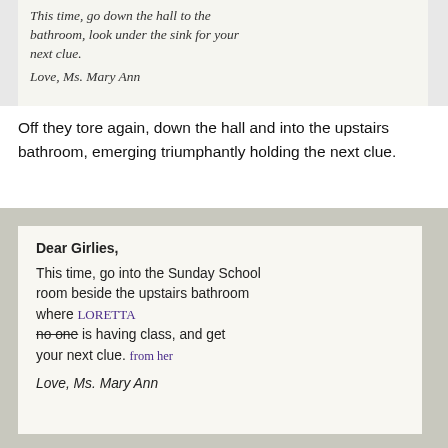[Figure (photo): Cropped photo of a handwritten/printed note card showing partial text in italic font: 'This time, go down the hall to the bathroom, look under the sink for your next clue.' signed 'Love, Ms. Mary Ann']
Off they tore again, down the hall and into the upstairs bathroom, emerging triumphantly holding the next clue.
[Figure (photo): Photo of a printed note card with handwritten annotations in purple ink. Text reads: 'Dear Girlies, This time, go into the Sunday School room beside the upstairs bathroom where [no one struck through, LORETTA written above in purple] is having class, and get your next clue. [from her written in purple cursive] Love, Ms. Mary Ann']